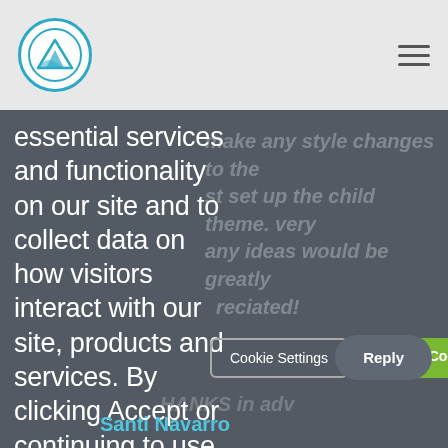essential services and functionality on our site and to collect data on how visitors interact with our site, products and services. By clicking Accept or continuing to use this site, you agree to our use of these tools for advertising and analytics
make any style changes to the st set up the child theme. very any ideas would be greatly reciated!
Cookie Settings
Accept Cookies
Reply
Santi Navarro